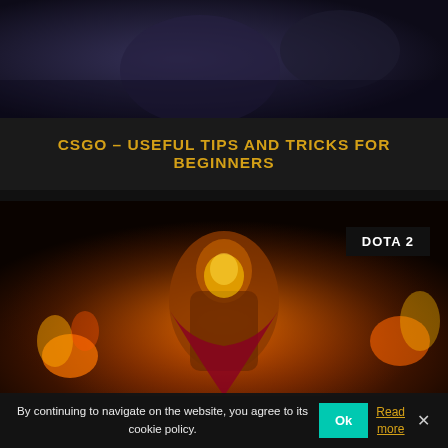[Figure (screenshot): CSGO game screenshot showing dark atmospheric scene with characters]
CSGO – USEFUL TIPS AND TRICKS FOR BEGINNERS
[Figure (screenshot): Dota 2 game artwork showing a fiery warrior character with DOTA 2 badge in top right corner]
By continuing to navigate on the website, you agree to its cookie policy.